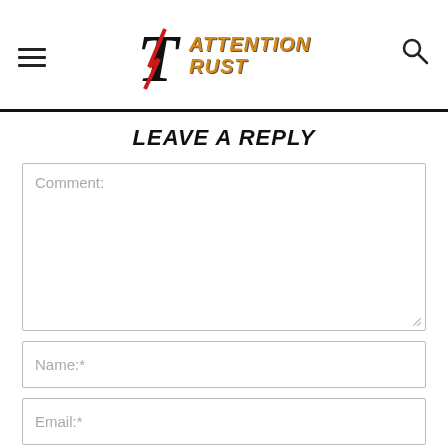Attention Rust
LEAVE A REPLY
Comment:
Name:*
Email:*
Website: